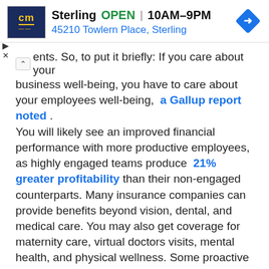[Figure (screenshot): Ad banner for CM Sterling store: logo with 'cm' text on dark blue background, store name 'Sterling', status 'OPEN', hours '10AM-9PM', address '45210 Towlern Place, Sterling', blue navigation arrow diamond icon on right, play and close controls on left]
ents. So, to put it briefly: If you care about your business well-being, you have to care about your employees well-being, a Gallup report noted.
You will likely see an improved financial performance with more productive employees, as highly engaged teams produce 21% greater profitability than their non-engaged counterparts. Many insurance companies can provide benefits beyond vision, dental, and medical care. You may also get coverage for maternity care, virtual doctors visits, mental health, and physical wellness. Some proactive insurers can provide these services at no additional cost.